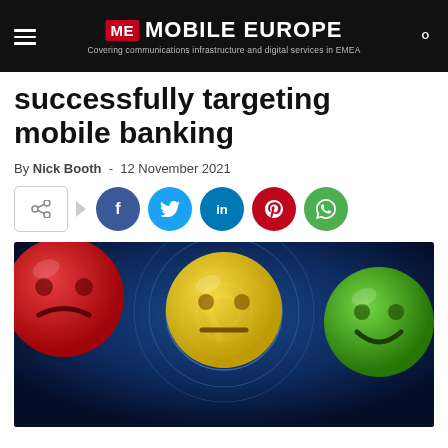ME MOBILE EUROPE — Covering communications infrastructure and digital services in EMEA
successfully targeting mobile banking
By Nick Booth - 12 November 2021
[Figure (other): Social share bar with share icon box, arrow, and circular social media buttons: Facebook (f), Twitter bird, LinkedIn (in), Pinterest (p), WhatsApp]
[Figure (photo): Photo of three emoji-style smiley face balls: red sad face on left, yellow neutral face in centre being pointed at, green happy face on right, with digital swirl background]